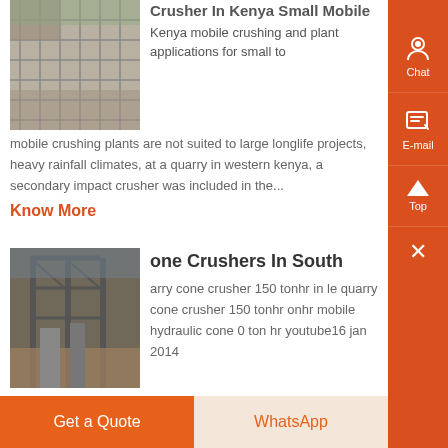[Figure (photo): Outdoor construction site with concrete reinforcement mesh/rebar on floor]
Crusher In Kenya Small Mobile Kenya mobile crushing and plant applications for small to mobile crushing plants are not suited to large longlife projects, heavy rainfall climates, at a quarry in western kenya, a secondary impact crusher was included in the...
Know More
[Figure (photo): Industrial steel structure/framework construction site]
one Crushers In South
arry cone crusher 150 tonhr in le quarry cone crusher 150 tonhr onhr mobile hydraulic cone 0 ton hr youtube16 jan 2014
Get a Quote
WhatsApp